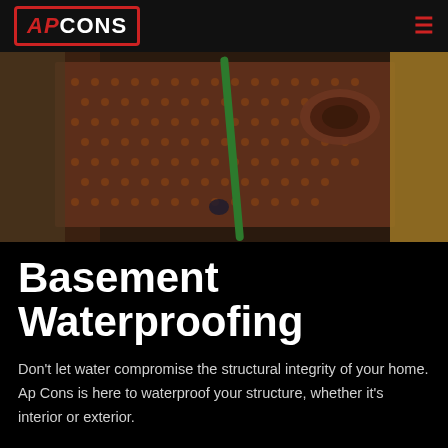AP CONS
[Figure (photo): Construction site showing dark brown dimple drainage membrane/waterproofing mat against an excavated foundation wall, with a roll of the material and green drain pipe visible alongside exposed soil/rock.]
Basement Waterproofing
Don't let water compromise the structural integrity of your home. Ap Cons is here to waterproof your structure, whether it's interior or exterior.